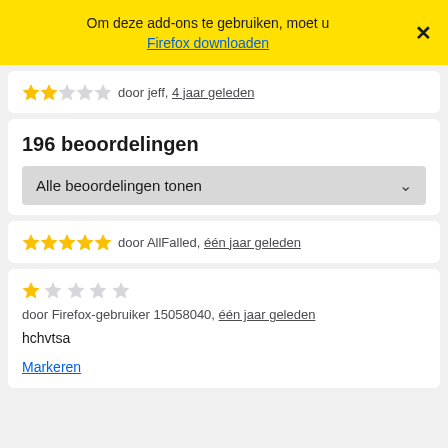Om deze add-ons te gebruiken, moet u Firefox downloaden ×
★★☆☆☆ door jeff, 4 jaar geleden
196 beoordelingen
Alle beoordelingen tonen
★★★★★ door AllFalled, één jaar geleden
★☆☆☆☆ door Firefox-gebruiker 15058040, één jaar geleden
hchvtsa
Markeren